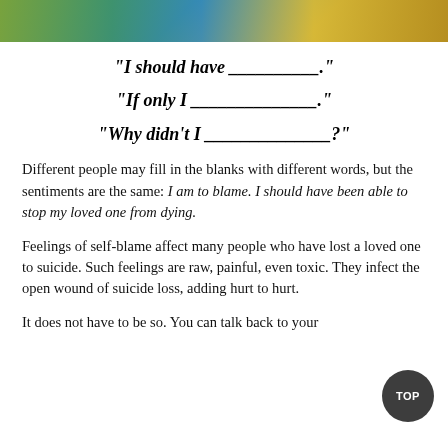[Figure (photo): Colorful painted or photographic image strip at top of page showing green, teal, blue, and golden yellow hues, likely foliage or abstract art.]
“I should have ___________.”
“If only I ______________.”
“Why didn’t I _____________?”
Different people may fill in the blanks with different words, but the sentiments are the same: I am to blame. I should have been able to stop my loved one from dying.
Feelings of self-blame affect many people who have lost a loved one to suicide. Such feelings are raw, painful, even toxic. They infect the open wound of suicide loss, adding hurt to hurt.
It does not have to be so. You can talk back to your